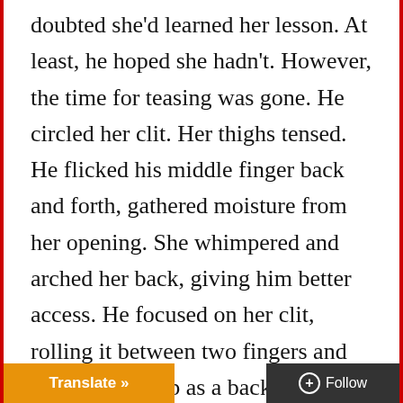doubted she'd learned her lesson. At least, he hoped she hadn't. However, the time for teasing was gone. He circled her clit. Her thighs tensed. He flicked his middle finger back and forth, gathered moisture from her opening. She whimpered and arched her back, giving him better access. He focused on her clit, rolling it between two fingers and using his thumb as a backboard.

She broke with a soft scream, pumping her hips, and he slid his thumb inside ing pressure to her G-spot